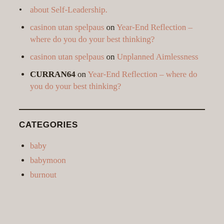about Self-Leadership.
casinon utan spelpaus on Year-End Reflection – where do you do your best thinking?
casinon utan spelpaus on Unplanned Aimlessness
CURRAN64 on Year-End Reflection – where do you do your best thinking?
CATEGORIES
baby
babymoon
burnout